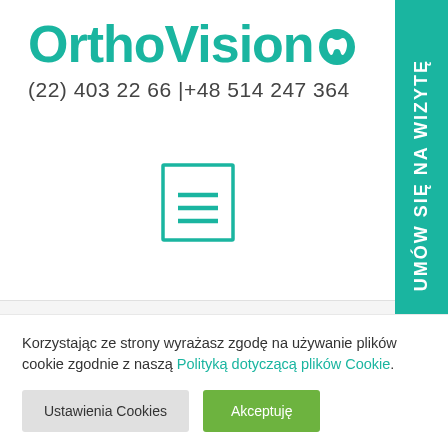[Figure (logo): OrthoVision logo in teal color with a tooth icon]
(22) 403 22 66 |+48 514 247 364
[Figure (illustration): Hamburger/menu icon with square border in teal]
[Figure (other): Teal vertical side banner with text 'UMÓW SIĘ NA WIZYTĘ']
4b89d4d2cac9 - Centrum Ortodontyczno-Stomatologiczne OrthoVision
Strona główna » Galeria » 4b89d4d2cac9
Korzystając ze strony wyrażasz zgodę na używanie plików cookie zgodnie z naszą Polityką dotyczącą plików Cookie.
Ustawienia Cookies
Akceptuję